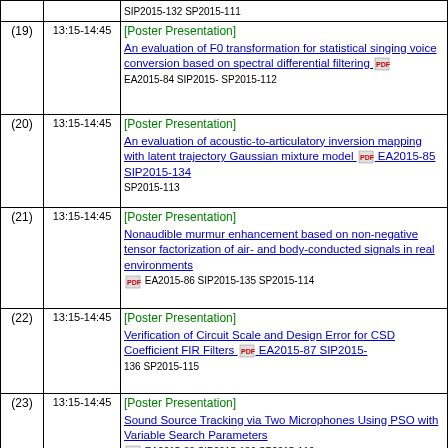| # | Time | Content |
| --- | --- | --- |
|  |  | SIP2015-132 SP2015-111 |
| (19) | 13:15-14:45 | [Poster Presentation] An evaluation of F0 transformation for statistical singing voice conversion based on spectral differential filtering EA2015-84 SIP2015- SP2015-112 |
| (20) | 13:15-14:45 | [Poster Presentation] An evaluation of acoustic-to-articulatory inversion mapping with latent trajectory Gaussian mixture model EA2015-85 SIP2015-134 SP2015-113 |
| (21) | 13:15-14:45 | [Poster Presentation] Nonaudible murmur enhancement based on non-negative tensor factorization of air- and body-conducted signals in real environments EA2015-86 SIP2015-135 SP2015-114 |
| (22) | 13:15-14:45 | [Poster Presentation] Verification of Circuit Scale and Design Error for CSD Coefficient FIR Filters EA2015-87 SIP2015-136 SP2015-115 |
| (23) | 13:15-14:45 | [Poster Presentation] Sound Source Tracking via Two Microphones Using PSO with Variable Search Parameters EA2015-88 SIP2015-136 SP2015-116 |